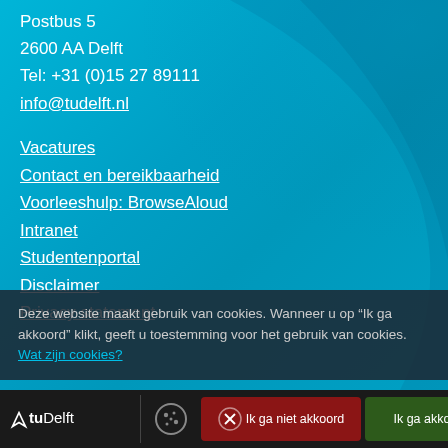Postbus 5
2600 AA Delft
Tel: +31 (0)15 27 89111
info@tudelft.nl
Vacatures
Contact en bereikbaarheid
Voorleeshulp: BrowseAloud
Intranet
Studentenportal
Disclaimer
Privacy statement
Deze website maakt gebruik van cookies. Wanneer u op “Ik ga akkoord” klikt, geeft u toestemming voor het gebruik van cookies. Wat zijn cookies?
TUDelft | Ik ga niet akkoord | Ik ga akkoord